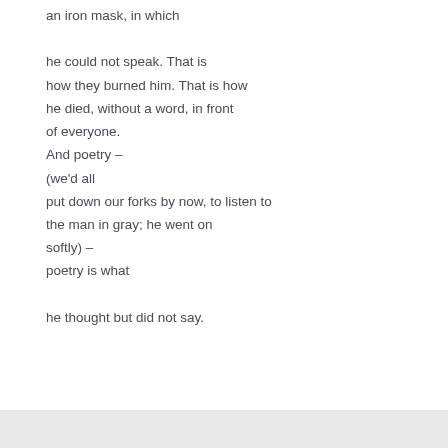an iron mask, in which

he could not speak. That is
how they burned him. That is how
he died, without a word, in front
of everyone.
And poetry –
(we'd all
put down our forks by now, to listen to
the man in gray; he went on
softly) –
poetry is what

he thought but did not say.